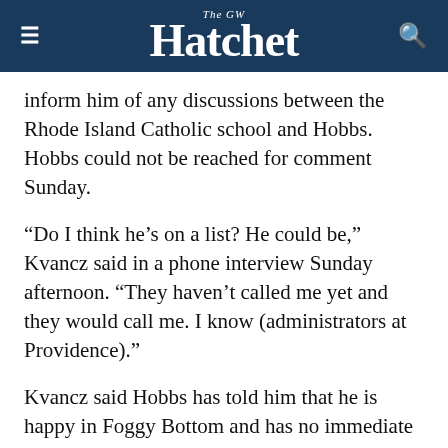The GW Hatchet
inform him of any discussions between the Rhode Island Catholic school and Hobbs. Hobbs could not be reached for comment Sunday.
“Do I think he’s on a list? He could be,” Kvancz said in a phone interview Sunday afternoon. “They haven’t called me yet and they would call me. I know (administrators at Providence).”
Kvancz said Hobbs has told him that he is happy in Foggy Bottom and has no immediate plans to leave. But Providence is in the Big East, one of the strongest basketball conferences in the country where Hobbs once played and coached with the University of Connecticut.